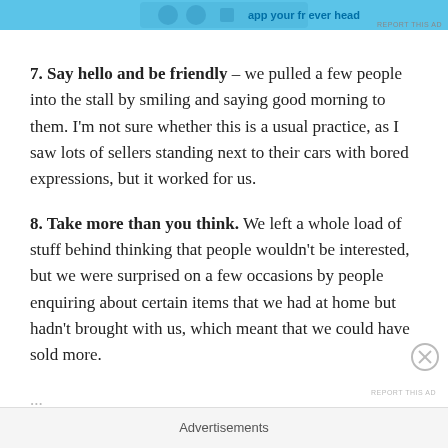[Figure (screenshot): Blue advertisement banner at the top of the page]
7. Say hello and be friendly – we pulled a few people into the stall by smiling and saying good morning to them. I'm not sure whether this is a usual practice, as I saw lots of sellers standing next to their cars with bored expressions, but it worked for us.
8. Take more than you think. We left a whole load of stuff behind thinking that people wouldn't be interested, but we were surprised on a few occasions by people enquiring about certain items that we had at home but hadn't brought with us, which meant that we could have sold more.
Advertisements